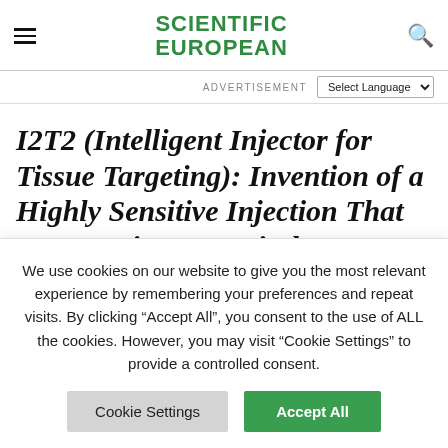SCIENTIFIC EUROPEAN
ADVERTISEMENT  Select Language
I2T2 (Intelligent Injector for Tissue Targeting): Invention of a Highly Sensitive Injection That Targets Tissue Precisely
ENGINEERING & TECHNOLOGY › I2T2 (Intelligent Injector for Tissue
We use cookies on our website to give you the most relevant experience by remembering your preferences and repeat visits. By clicking “Accept All”, you consent to the use of ALL the cookies. However, you may visit “Cookie Settings” to provide a controlled consent.